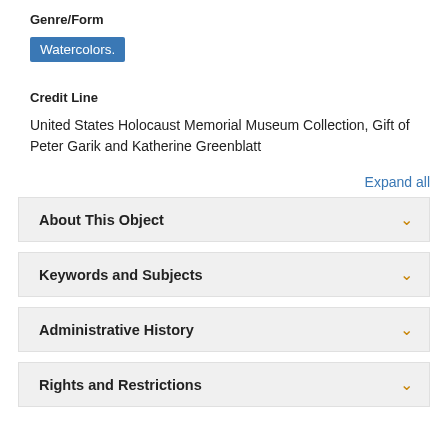Genre/Form
Watercolors.
Credit Line
United States Holocaust Memorial Museum Collection, Gift of Peter Garik and Katherine Greenblatt
Expand all
About This Object
Keywords and Subjects
Administrative History
Rights and Restrictions